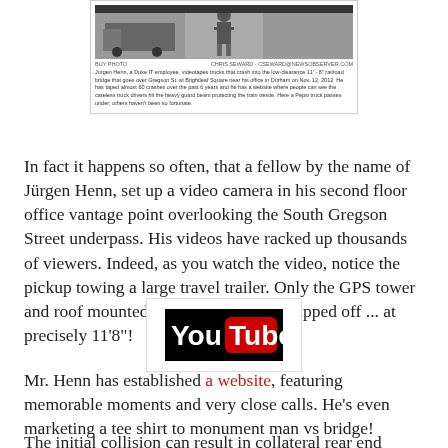[Figure (photo): Newspaper clipping showing a man videotaping trucks at a railroad bridge clearance with photo credit and caption about Jurgen Henn.]
In fact it happens so often, that a fellow by the name of Jürgen Henn, set up a video camera in his second floor office vantage point overlooking the South Gregson Street underpass. His videos have racked up thousands of viewers. Indeed, as you watch the video, notice the pickup towing a large travel trailer. Only the GPS tower and roof mounted air conditioner are clipped off ... at precisely 11'8"!
[Figure (logo): YouTube logo — white 'You' text and red 'Tube' box on black background.]
Mr. Henn has established a website, featuring memorable moments and very close calls. He's even marketing a tee shirt to monument man vs bridge!
The initial collision can result in collateral rear end collisions